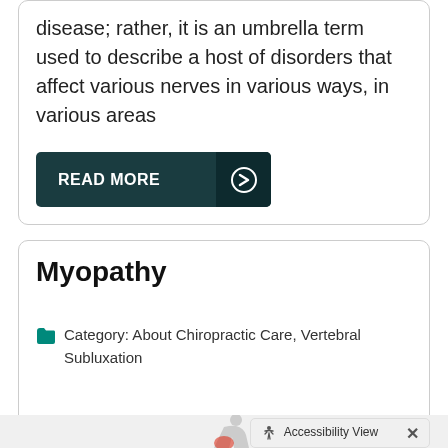disease; rather, it is an umbrella term used to describe a host of disorders that affect various nerves in various ways, in various areas
[Figure (other): READ MORE button with dark teal background and right arrow icon]
Myopathy
Category: About Chiropractic Care, Vertebral Subluxation
[Figure (photo): Person bending forward holding lower back with red highlighted pain area]
Accessibility View ×